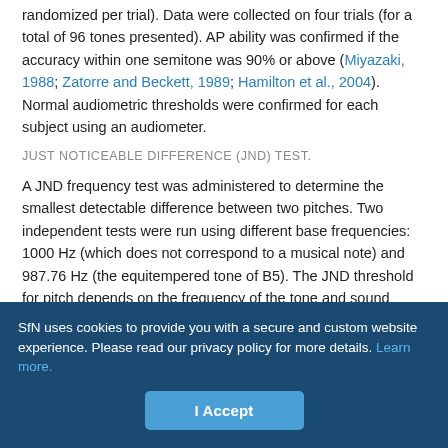randomized per trial). Data were collected on four trials (for a total of 96 tones presented). AP ability was confirmed if the accuracy within one semitone was 90% or above (Miyazaki, 1988; Zatorre and Beckett, 1989; Hamilton et al., 2004). Normal audiometric thresholds were confirmed for each subject using an audiometer.
JUST NOTICEABLE DIFFERENCE (JND) TEST.
A JND frequency test was administered to determine the smallest detectable difference between two pitches. Two independent tests were run using different base frequencies: 1000 Hz (which does not correspond to a musical note) and 987.76 Hz (the equitempered tone of B5). The JND threshold for pitch depends on the frequency of the tone and sound level, as well as duration and the suddenness of
SfN uses cookies to provide you with a secure and custom website experience. Please read our privacy policy for more details. Learn more.